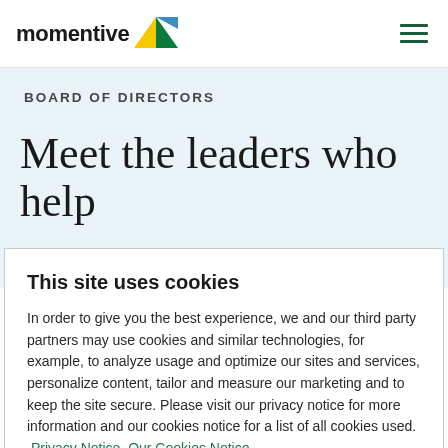momentive [logo]
BOARD OF DIRECTORS
Meet the leaders who help
This site uses cookies

In order to give you the best experience, we and our third party partners may use cookies and similar technologies, for example, to analyze usage and optimize our sites and services, personalize content, tailor and measure our marketing and to keep the site secure. Please visit our privacy notice for more information and our cookies notice for a list of all cookies used. Privacy Notice  Our Cookies Notice
Cookie preferences | Accept all cookies